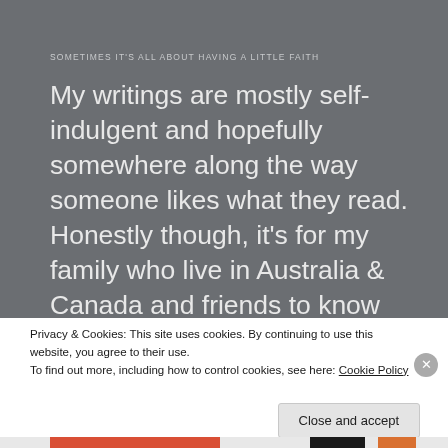SOMETIMES IT'S ALL ABOUT HAVING A LITTLE FAITH
My writings are mostly self-indulgent and hopefully somewhere along the way someone likes what they read. Honestly though, it's for my family who live in Australia & Canada and friends to know what I'm up to and that I'm not living too decadent a life :)
Privacy & Cookies: This site uses cookies. By continuing to use this website, you agree to their use.
To find out more, including how to control cookies, see here: Cookie Policy
Close and accept